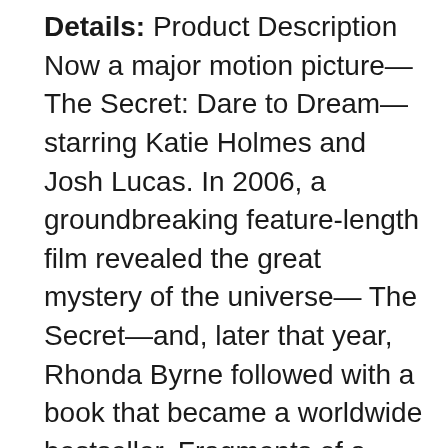Details: Product Description Now a major motion picture—The Secret: Dare to Dream—starring Katie Holmes and Josh Lucas. In 2006, a groundbreaking feature-length film revealed the great mystery of the universe— The Secret—and, later that year, Rhonda Byrne followed with a book that became a worldwide bestseller. Fragments of a Great Secret have been found in the oral traditions, in literature, in religions, and philosophies throughout the centuries. For the first time, all the pieces of The Secret come together in an incredible revelation that will be life-transforming for all who experience it. In this book, you'll learn how to use The Secret in every aspect of your life—money, health, relationships, happiness, and in every interaction you have in the world. You'll begin to understand the hidden, untapped power that's within you, and this revelation can bring joy to every aspect of your life. The Secret contains wisdom from modern day...